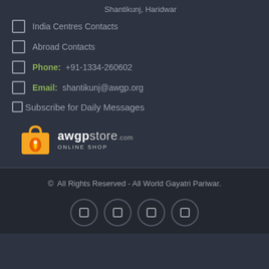Shantikunj, Haridwar
India Centres Contacts
Abroad Contacts
Phone: +91-1334-260602
Email: shantikunj@awgp.org
Subscribe for Daily Messages
[Figure (logo): awgpstore.com ONLINE SHOP logo with orange shopping bag icon]
© All Rights Reserved - All World Gayatri Pariwar.